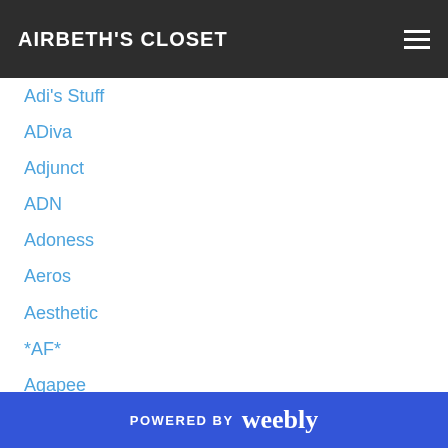AIRBETH'S CLOSET
Adi's Stuff
ADiva
Adjunct
ADN
Adoness
Aeros
Aesthetic
*AF*
Agapee
Agata
+AH+
AI
Aibeat
Airbeth Posts
Airbeth-Posts
POWERED BY weebly